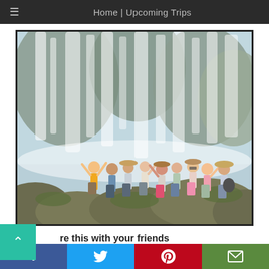Home | Upcoming Trips
[Figure (photo): Group of tourists posing with arms raised in front of a large waterfall with rocky terrain]
re this with your friends
[Figure (other): Social share bar with Facebook, Twitter, Pinterest, and Email buttons]